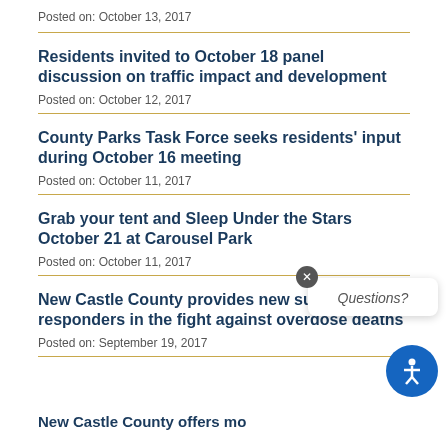Posted on: October 13, 2017
Residents invited to October 18 panel discussion on traffic impact and development
Posted on: October 12, 2017
County Parks Task Force seeks residents' input during October 16 meeting
Posted on: October 11, 2017
Grab your tent and Sleep Under the Stars October 21 at Carousel Park
Posted on: October 11, 2017
New Castle County provides new support to first responders in the fight against overdose deaths
Posted on: September 19, 2017